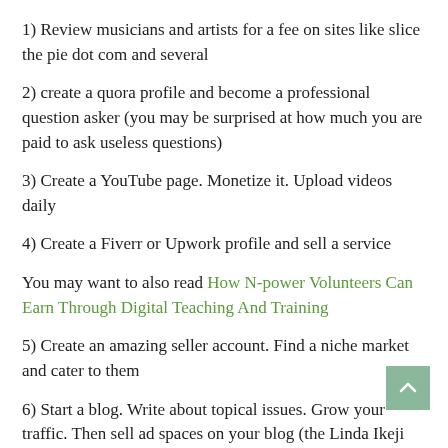1) Review musicians and artists for a fee on sites like slice the pie dot com and several
2) create a quora profile and become a professional question asker (you may be surprised at how much you are paid to ask useless questions)
3) Create a YouTube page. Monetize it. Upload videos daily
4) Create a Fiverr or Upwork profile and sell a service
You may want to also read How N-power Volunteers Can Earn Through Digital Teaching And Training
5) Create an amazing seller account. Find a niche market and cater to them
6) Start a blog. Write about topical issues. Grow your traffic. Then sell ad spaces on your blog (the Linda Ikeji wealth model)
7) Write an ebook for Amazon and be paid for every download